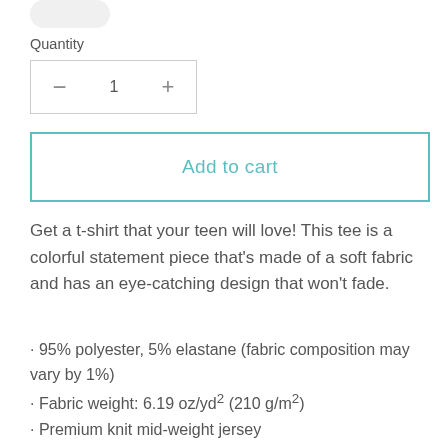Quantity
− 1 +
Add to cart
Get a t-shirt that your teen will love! This tee is a colorful statement piece that's made of a soft fabric and has an eye-catching design that won't fade.
· 95% polyester, 5% elastane (fabric composition may vary by 1%)
· Fabric weight: 6.19 oz/yd² (210 g/m²)
· Premium knit mid-weight jersey
· Four-way stretch fabric that stretches and